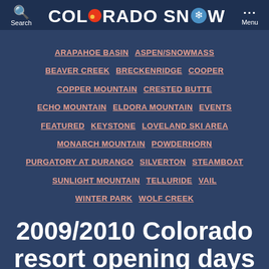Search  COLORADO SNOW  Menu
ARAPAHOE BASIN  ASPEN/SNOWMASS  BEAVER CREEK  BRECKENRIDGE  COOPER  COPPER MOUNTAIN  CRESTED BUTTE  ECHO MOUNTAIN  ELDORA MOUNTAIN  EVENTS  FEATURED  KEYSTONE  LOVELAND SKI AREA  MONARCH MOUNTAIN  POWDERHORN  PURGATORY AT DURANGO  SILVERTON  STEAMBOAT  SUNLIGHT MOUNTAIN  TELLURIDE  VAIL  WINTER PARK  WOLF CREEK
2009/2010 Colorado resort opening days